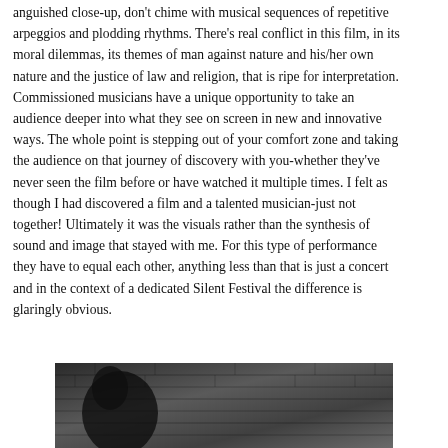anguished close-up, don't chime with musical sequences of repetitive arpeggios and plodding rhythms. There's real conflict in this film, in its moral dilemmas, its themes of man against nature and his/her own nature and the justice of law and religion, that is ripe for interpretation. Commissioned musicians have a unique opportunity to take an audience deeper into what they see on screen in new and innovative ways. The whole point is stepping out of your comfort zone and taking the audience on that journey of discovery with you-whether they've never seen the film before or have watched it multiple times. I felt as though I had discovered a film and a talented musician-just not together! Ultimately it was the visuals rather than the synthesis of sound and image that stayed with me. For this type of performance they have to equal each other, anything less than that is just a concert and in the context of a dedicated Silent Festival the difference is glaringly obvious.
[Figure (photo): Black and white photograph showing a figure against a stone wall background, partially visible at the bottom of the page.]